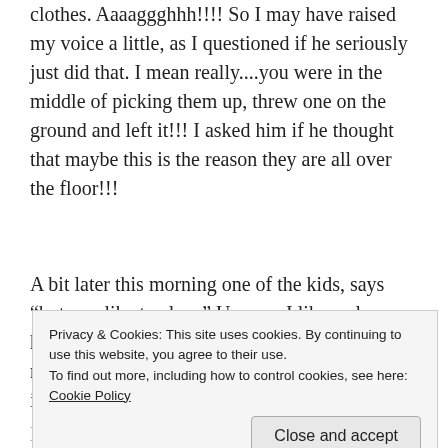clothes. Aaaaggghhh!!!! So I may have raised my voice a little, as I questioned if he seriously just did that. I mean really....you were in the middle of picking them up, threw one on the ground and left it!!! I asked him if he thought that maybe this is the reason they are all over the floor!!!
A bit later this morning one of the kids, says “but you like to clean” Um, no. I like a clean house, not to clean. If we could afford to have a maid, I would in  heartbeat. But since that isn’t in our budget, I clean. But that
Privacy & Cookies: This site uses cookies. By continuing to use this website, you agree to their use.
To find out more, including how to control cookies, see here: Cookie Policy
like to clean....nand me either. But I don't expect things to